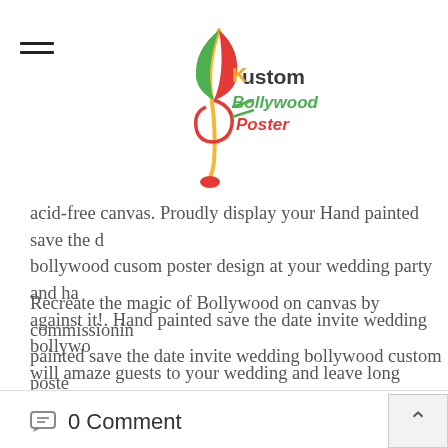[Figure (logo): Kustom Bollywood Poster logo with a colorful treble clef/musical note in yellow, green, red colors and the text 'Kustom Bollywood Poster' in multicolor]
acid-free canvas. Proudly display your Hand painted save the date bollywood cusom poster design at your wedding party and have photos against it!. Hand painted save the date invite wedding bollywood will amaze guests to your wedding and leave long lasting impr…
Recreate the magic of Bollywood on canvas by commissioning a hand painted save the date invite wedding bollywood custom poster mobile no : +919022034923 .
0 Comment